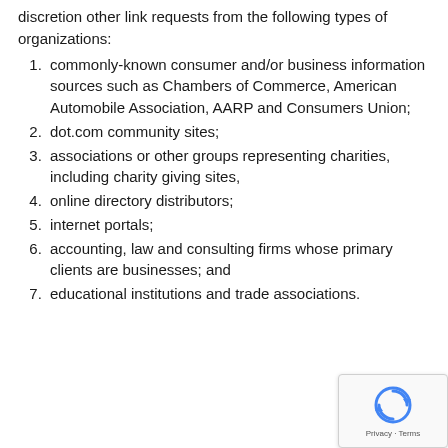discretion other link requests from the following types of organizations:
commonly-known consumer and/or business information sources such as Chambers of Commerce, American Automobile Association, AARP and Consumers Union;
dot.com community sites;
associations or other groups representing charities, including charity giving sites,
online directory distributors;
internet portals;
accounting, law and consulting firms whose primary clients are businesses; and
educational institutions and trade associations.